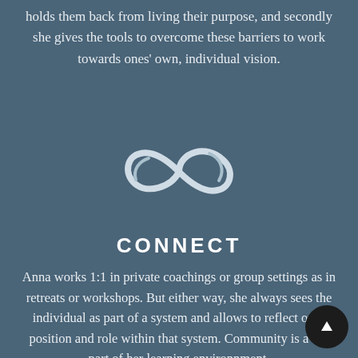holds them back from living their purpose, and secondly she gives the tools to overcome these barriers to work towards ones' own, individual vision.
[Figure (illustration): Infinity symbol / lemniscate logo in white outline on teal-blue background]
CONNECT
Anna works 1:1 in private coachings or group settings as in retreats or workshops. But either way, she always sees the individual as part of a system and allows to reflect ones position and role within that system. Community is a big part of her learning environnment.